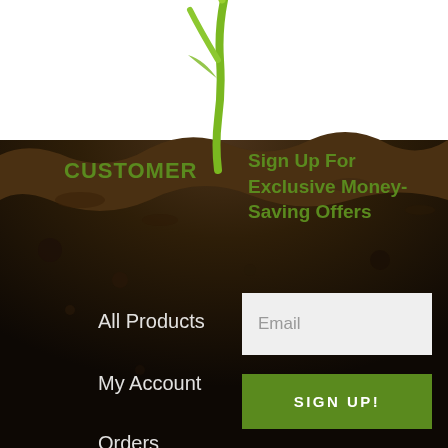[Figure (photo): Background image of dark soil with a green seedling/sprout emerging from the top center against a white background]
CUSTOMER
Sign Up For Exclusive Money-Saving Offers
All Products
My Account
Orders
Cart
Logout
Email
SIGN UP!